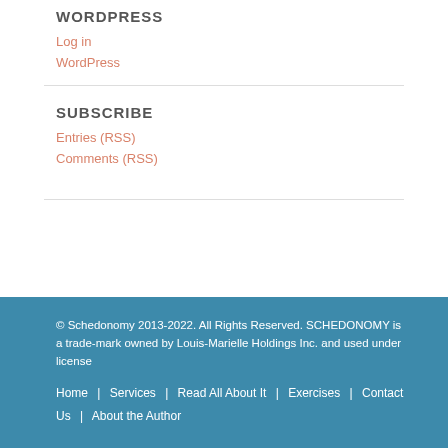WORDPRESS
Log in
WordPress
SUBSCRIBE
Entries (RSS)
Comments (RSS)
© Schedonomy 2013-2022. All Rights Reserved. SCHEDONOMY is a trade-mark owned by Louis-Marielle Holdings Inc. and used under license
Home | Services | Read All About It | Exercises | Contact Us | About the Author